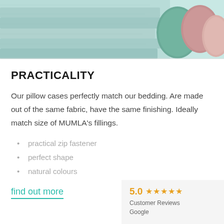[Figure (photo): Folded teal/mint colored bedding fabric with green, pink and blush colored decorative pillows on white background]
PRACTICALITY
Our pillow cases perfectly match our bedding. Are made out of the same fabric, have the same finishing. Ideally match size of MUMLA's fillings.
practical zip fastener
perfect shape
natural colours
find out more
5.0 ★★★★★ Customer Reviews Google